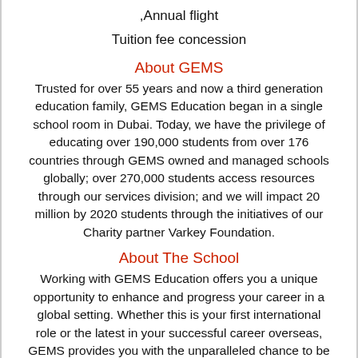,Annual flight
Tuition fee concession
About GEMS
Trusted for over 55 years and now a third generation education family, GEMS Education began in a single school room in Dubai. Today, we have the privilege of educating over 190,000 students from over 176 countries through GEMS owned and managed schools globally; over 270,000 students access resources through our services division; and we will impact 20 million by 2020 students through the initiatives of our Charity partner Varkey Foundation.
About The School
Working with GEMS Education offers you a unique opportunity to enhance and progress your career in a global setting. Whether this is your first international role or the latest in your successful career overseas, GEMS provides you with the unparalleled chance to be part of the world's largest education company.